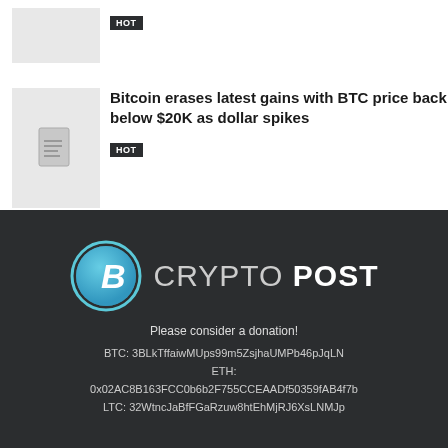[Figure (other): Thumbnail image placeholder (gray rectangle) for first article]
HOT
[Figure (other): Thumbnail image with document icon for second article]
Bitcoin erases latest gains with BTC price back below $20K as dollar spikes
HOT
[Figure (logo): Crypto Post logo with Bitcoin circle icon and text CRYPTO POST]
Please consider a donation!
BTC: 3BLkTffaiwMUps99m5ZsjhaUMPb46pJqLN
ETH:
0x02AC8B163FCC0b6b2F755CCEAADf50359fAB4f7b
LTC: 32WtncJaBfFGaRzuw8htEhMjRJ6XsLNMJp